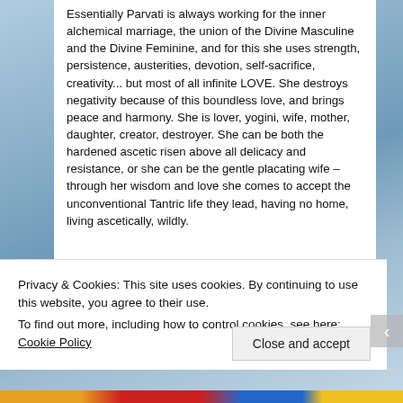Essentially Parvati is always working for the inner alchemical marriage, the union of the Divine Masculine and the Divine Feminine, and for this she uses strength, persistence, austerities, devotion, self-sacrifice, creativity... but most of all infinite LOVE. She destroys negativity because of this boundless love, and brings peace and harmony. She is lover, yogini, wife, mother, daughter, creator, destroyer. She can be both the hardened ascetic risen above all delicacy and resistance, or she can be the gentle placating wife – through her wisdom and love she comes to accept the unconventional Tantric life they lead, having no home, living ascetically, wildly.
Privacy & Cookies: This site uses cookies. By continuing to use this website, you agree to their use.
To find out more, including how to control cookies, see here: Cookie Policy
Close and accept